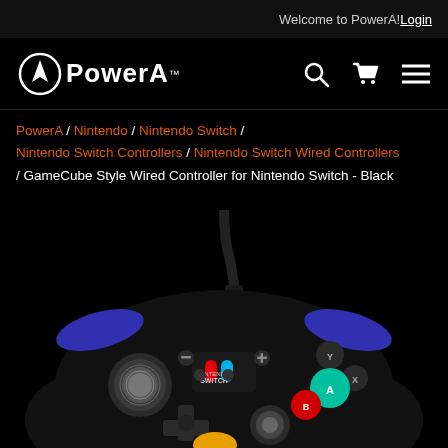Welcome to PowerA! Login
[Figure (logo): PowerA logo with flame icon and wordmark]
PowerA / Nintendo / Nintendo Switch / Nintendo Switch Controllers / Nintendo Switch Wired Controllers / GameCube Style Wired Controller for Nintendo Switch - Black
[Figure (photo): Black GameCube Style Wired Controller for Nintendo Switch showing Nintendo Switch logo on face, analog sticks, colored ABXY buttons (green A, red B, gray X, gray Y), blue bumpers, and USB cable]